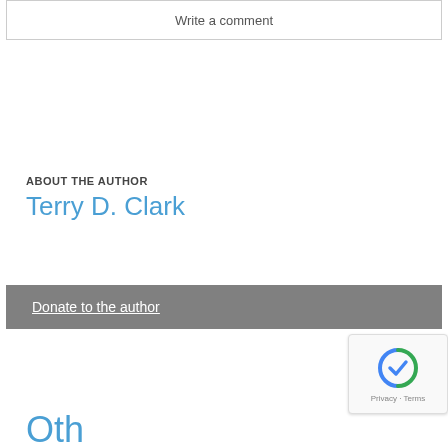Write a comment
ABOUT THE AUTHOR
Terry D. Clark
Donate to the author
Oth...